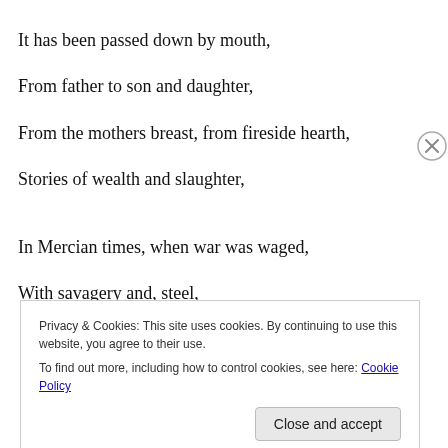It has been passed down by mouth,
From father to son and daughter,
From the mothers breast, from fireside hearth,
Stories of wealth and slaughter,
In Mercian times, when war was waged,
With savagery and, steel,
Privacy & Cookies: This site uses cookies. By continuing to use this website, you agree to their use.
To find out more, including how to control cookies, see here: Cookie Policy